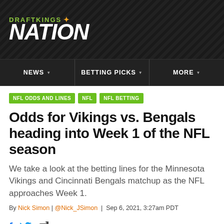[Figure (logo): DraftKings Nation logo — green uppercase DRAFTKINGS with crown icon, white italic bold NATION below, on dark textured background]
NEWS | BETTING PICKS | MORE
NFL ODDS AND LINES
NFL
NFL BETTING
Odds for Vikings vs. Bengals heading into Week 1 of the NFL season
We take a look at the betting lines for the Minnesota Vikings and Cincinnati Bengals matchup as the NFL approaches Week 1.
By Nick Simon | @Nick_JSimon | Sep 6, 2021, 3:27am PDT